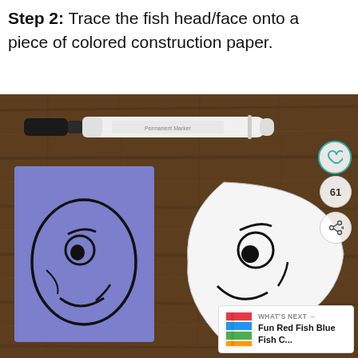Step 2: Trace the fish head/face onto a piece of colored construction paper.
[Figure (photo): Photo on a wooden table showing a Sharpie permanent marker, a piece of blue construction paper with a fish head/face outline drawn on it, and a white paper cutout of a fish head/face template beside it. The blue paper shows a cartoon-style fish face with an eye and smile traced in black marker. UI overlays show a heart icon, the number 61, a share button, and a 'What's Next' thumbnail for 'Fun Red Fish Blue Fish C...']